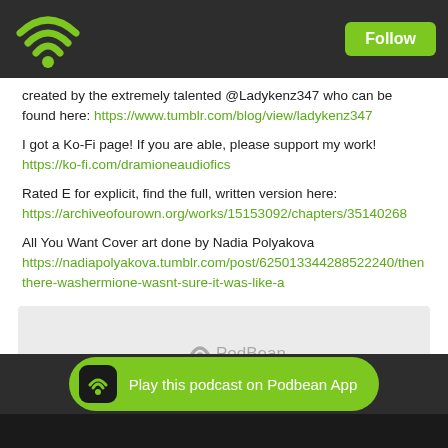Podbean app header with WiFi logo and Follow button
created by the extremely talented @Ladykenz347 who can be found here: https://www.tumblr.com/blog/view/ladykenz347
I got a Ko-Fi page! If you are able, please support my work! https://ko-fi.com/dramioneaudiofics
Rated E for explicit, find the full, written version here: https://archiveofourown.org/works/15153092/chapters/35140268
All You Want Cover art done by Nadia Polyakova https://nadiapolyakova.tumblr.com/post/625013344288522240/there-washermione-wasnt-sure-it-was-like-a
[Figure (screenshot): PodBean embedded audio player with light gray background]
Likes(3)   Share   Download(3504)
Play this podcast on Podbean App